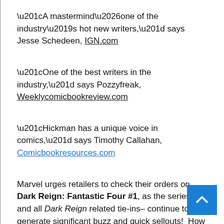“A mastermind…one of the industry’s hot new writers,” says Jesse Schedeen, IGN.com
“One of the best writers in the industry,” says Pozzyfreak, Weeklycomicbookreview.com
“Hickman has a unique voice in comics,” says Timothy Callahan, Comicbookresources.com
Marvel urges retailers to check their orders on Dark Reign: Fantastic Four #1, as the series – and all Dark Reign related tie-ins– continue to generate significant buzz and quick sellouts!  How will the Fantastic Four respond to the events of Dark Reign throughout the Marvel Universe?